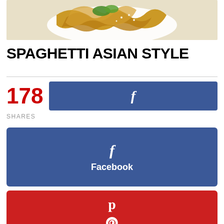[Figure (photo): Spaghetti Asian style dish with noodles, green herbs, and sesame seeds on a white plate]
SPAGHETTI ASIAN STYLE
178 SHARES
[Figure (screenshot): Facebook share button with f icon]
[Figure (screenshot): Facebook social share button with f icon and label Facebook]
[Figure (screenshot): Pinterest social share button with P icon and label Pinterest]
[Figure (screenshot): Print Friendly social share button with printer icon and label Print Friendly]